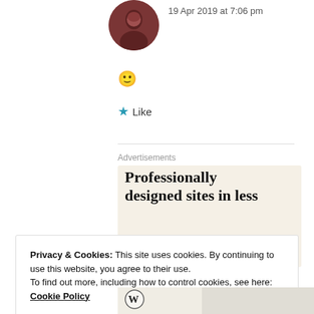19 Apr 2019 at 7:06 pm
[Figure (photo): Circular profile avatar photo with brownish/dark red tones]
🙂
★ Like
Advertisements
[Figure (infographic): Advertisement banner with beige background reading 'Professionally designed sites in less']
Privacy & Cookies: This site uses cookies. By continuing to use this website, you agree to their use.
To find out more, including how to control cookies, see here: Cookie Policy
Close and accept